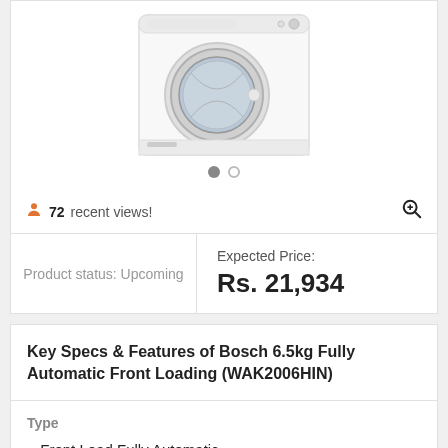[Figure (photo): Bosch front-loading washing machine, white, shown at slight angle]
72 recent views!
Product status: Upcoming
Expected Price: Rs. 21,934
Key Specs & Features of Bosch 6.5kg Fully Automatic Front Loading (WAK2006HIN)
Type
Front Load Fully Automatic
Capacity